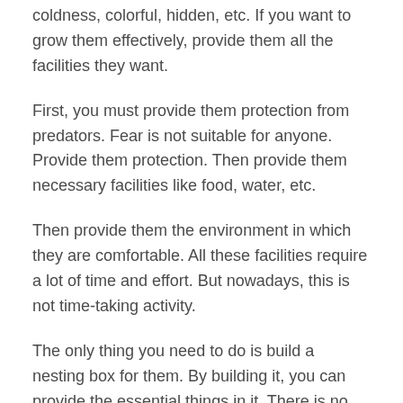coldness, colorful, hidden, etc. If you want to grow them effectively, provide them all the facilities they want.
First, you must provide them protection from predators. Fear is not suitable for anyone. Provide them protection. Then provide them necessary facilities like food, water, etc.
Then provide them the environment in which they are comfortable. All these facilities require a lot of time and effort. But nowadays, this is not time-taking activity.
The only thing you need to do is build a nesting box for them. By building it, you can provide the essential things in it. There is no fear of being prayed by predators.
There is no wastage of food and water inside the nest. There is no seasoning effect on them by remaining inside